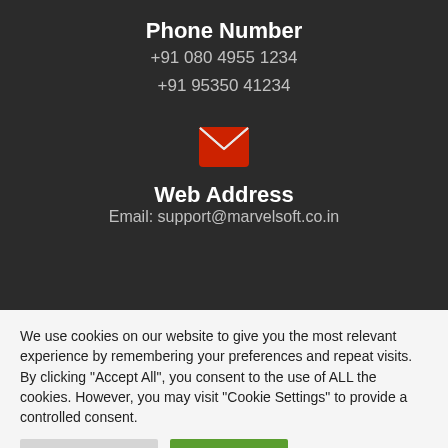Phone Number
+91 080 4955 1234
+91 95350 41234
[Figure (illustration): Red envelope/email icon]
Web Address
Email: support@marvelsoft.co.in
We use cookies on our website to give you the most relevant experience by remembering your preferences and repeat visits. By clicking "Accept All", you consent to the use of ALL the cookies. However, you may visit "Cookie Settings" to provide a controlled consent.
Cookie Settings | Accept All